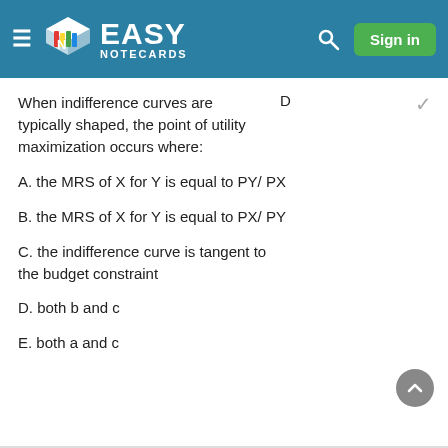EASY NOTECARDS
When indifference curves are typically shaped, the point of utility maximization occurs where:
D
A. the MRS of X for Y is equal to PY/ PX
B. the MRS of X for Y is equal to PX/ PY
C. the indifference curve is tangent to the budget constraint
D. both b and c
E. both a and c